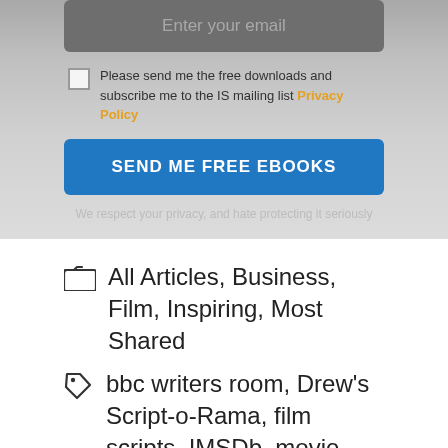[Figure (screenshot): Email input field with placeholder 'Enter your email' on a dark grey rounded rectangle background]
Please send me the free downloads and subscribe me to the IS mailing list Privacy Policy
SEND ME FREE EBOOKS
We respect your privacy, and hate protecting it seriously
All Articles, Business, Film, Inspiring, Most Shared
bbc writers room, Drew's Script-o-Rama, film scripts, IMSDb, movie scripts, Screenplays For You, Scribd, Simply Scripts, The Daily Script, The Screenplay Database, TV Writing, Weekend Read